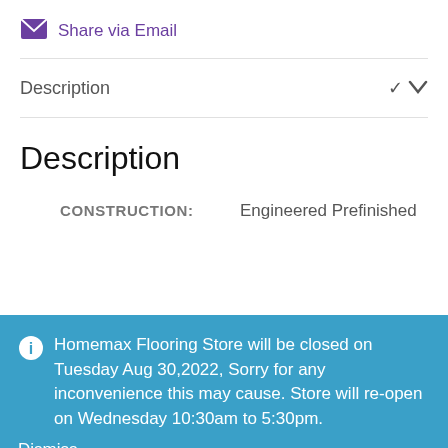Share via Email
Description
Description
CONSTRUCTION:    Engineered Prefinished
Homemax Flooring Store will be closed on Tuesday Aug 30,2022, Sorry for any inconvenience this may cause. Store will re-open on Wednesday 10:30am to 5:30pm.
Dismiss